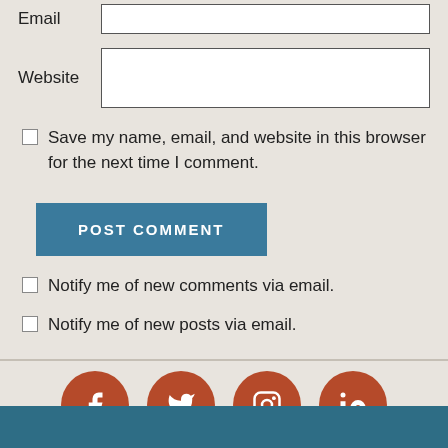Email
Website
Save my name, email, and website in this browser for the next time I comment.
POST COMMENT
Notify me of new comments via email.
Notify me of new posts via email.
[Figure (other): Social media icon buttons: Facebook, Twitter, Instagram, LinkedIn — circular dark orange/rust colored icons]